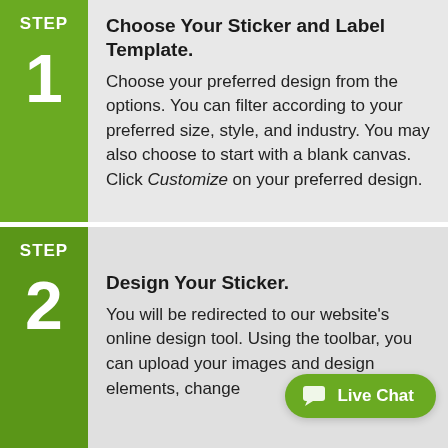STEP 1 — Choose Your Sticker and Label Template. Choose your preferred design from the options. You can filter according to your preferred size, style, and industry. You may also choose to start with a blank canvas. Click Customize on your preferred design.
STEP 2 — Design Your Sticker. You will be redirected to our website's online design tool. Using the toolbar, you can upload your images and design elements, change